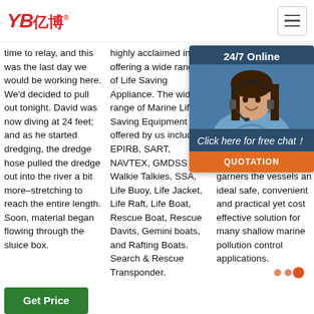[Figure (logo): YB亿博 company logo in red with registered trademark symbol and hamburger menu icon on the right]
time to relay, and this was the last day we would be working here. We'd decided to pull out tonight. David was now diving at 24 feet; and as he started dredging, the dredge hose pulled the dredge out into the river a bit more–stretching to reach the entire length. Soon, material began flowing through the sluice box.
highly acclaimed in offering a wide range of Life Saving Appliance. The wide range of Marine Life Saving Equipment offered by us include EPIRB, SART, NAVTEX, GMDSS Walkie Talkies, SSA, Life Buoy, Life Jacket, Life Raft, Life Boat, Rescue Boat, Rescue Davits, Gemini boats, and Rafting Boats. Search & Rescue Transponder.
Mini Cat – Trash Skimmer Boat. Marine Debris Removal… leading manufacturer of large autonomous Trash Skimmer & Water Cleaner Cat Boats. The Marine Debris Removal garners the vessels an ideal safe, convenient and practical yet cost effective solution for many shallow marine pollution control applications.
[Figure (photo): 24/7 Online chat widget with a woman wearing a headset, 'Click here for free chat!' text and QUOTATION orange button]
Get Price
Get Price